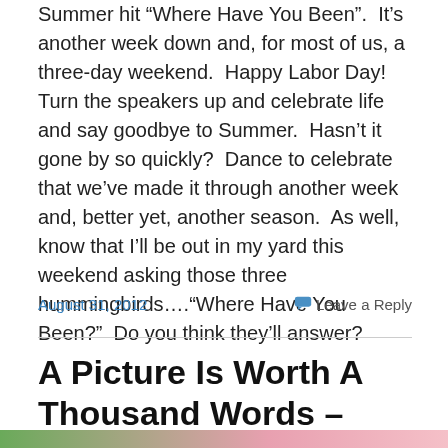Summer hit “Where Have You Been”.  It’s another week down and, for most of us, a three-day weekend.  Happy Labor Day!  Turn the speakers up and celebrate life and say goodbye to Summer.  Hasn’t it gone by so quickly?  Dance to celebrate that we’ve made it through another week and, better yet, another season.  As well, know that I’ll be out in my yard this weekend asking those three hummingbirds….“Where Have You Been?”  Do you think they’ll answer?
August 31, 2012
Leave a Reply
A Picture Is Worth A Thousand Words – Buzz Off!
[Figure (photo): Partial view of an image strip at the bottom of the page, showing green and pink/rose colors.]